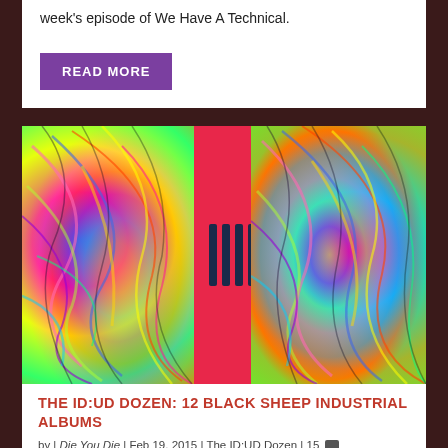week's episode of We Have A Technical.
READ MORE
[Figure (illustration): Psychedelic swirling album art with vivid colors (pink, yellow, green, blue, purple) with a central crimson red vertical band featuring four dark navy tally marks]
THE ID:UD DOZEN: 12 BLACK SHEEP INDUSTRIAL ALBUMS
by | Die You Die | Feb 19, 2015 | The ID:UD Dozen | 15